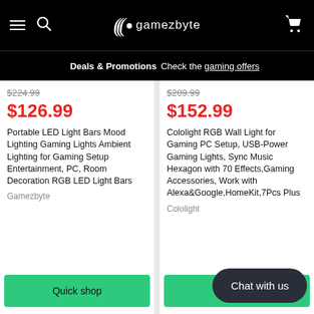gamezbyte — hamburger menu, search, cart
🏷 Deals & Promotions  Check the gaming offers
$224.99
$126.99
Portable LED Light Bars Mood Lighting Gaming Lights Ambient Lighting for Gaming Setup Entertainment, PC, Room Decoration RGB LED Light Bars
Gamezbyte
$209.99
$152.99
Cololight RGB Wall Light for Gaming PC Setup, USB-Power Gaming Lights, Sync Music Hexagon with 70 Effects,Gaming Accessories, Work with Alexa&Google,HomeKit,7Pcs Plus
Cololight
Quick shop
Chat with us